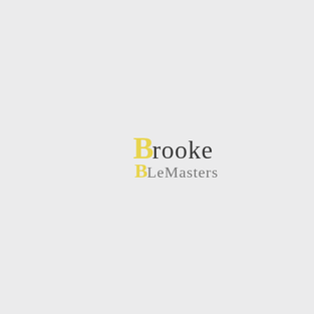[Figure (logo): Brooke LeMasters logo: large overlapping 'B' letters in yellow/gold serif font with 'brooke' in dark charcoal serif text on the first line, and 'LeMasters' in gray serif text on the second line, on a light gray background.]